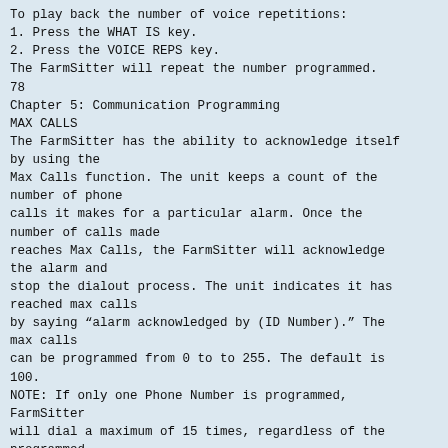To play back the number of voice repetitions:
1. Press the WHAT IS key.
2. Press the VOICE REPS key.
The FarmSitter will repeat the number programmed.
78
Chapter 5: Communication Programming
MAX CALLS
The FarmSitter has the ability to acknowledge itself by using the
Max Calls function. The unit keeps a count of the number of phone
calls it makes for a particular alarm. Once the number of calls made
reaches Max Calls, the FarmSitter will acknowledge the alarm and
stop the dialout process. The unit indicates it has reached max calls
by saying “alarm acknowledged by (ID Number).” The max calls
can be programmed from 0 to to 255. The default is 100.
NOTE: If only one Phone Number is programmed, FarmSitter
will dial a maximum of 15 times, regardless of the programmed
value of max calls, as required by FCC rules.
To program Max Calls:
1. Press the SET key.
2. Press the MAX CALLS key.
FarmSitter will say “Enter number.”
3. Using the number keys, enter a value, then press ENTER.
The FarmSitter will say “OK.”